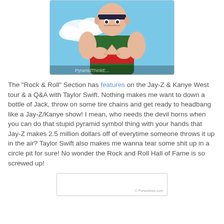[Figure (illustration): Anime-style illustration of a muscular bald character wearing a dark green outfit with red accents, making a triangle/pyramid hand gesture. Blue sky background with clouds. Partial text watermark at bottom of image.]
The "Rock & Roll" Section has features on the Jay-Z & Kanye West tour & a Q&A with Taylor Swift. Nothing makes me want to down a bottle of Jack, throw on some tire chains and get ready to headbang like a Jay-Z/Kanye show! I mean, who needs the devil horns when you can do that stupid pyramid symbol thing with your hands that Jay-Z makes 2.5 million dollars off of everytime someone throws it up in the air? Taylor Swift also makes me wanna tear some shit up in a circle pit for sure! No wonder the Rock and Roll Hall of Fame is so screwed up!
[Figure (screenshot): Partial screenshot of a web page with a watermark reading '© Puncelines.com' in the bottom right corner.]